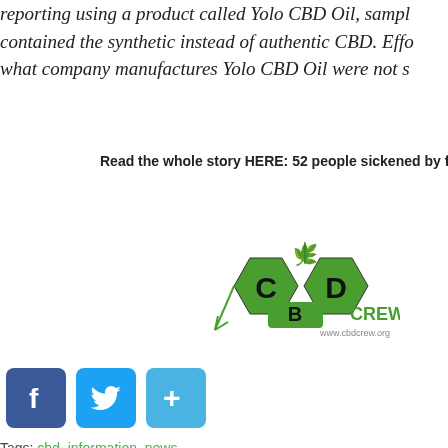reporting using a product called Yolo CBD Oil, samples contained the synthetic instead of authentic CBD. Efforts to find what company manufactures Yolo CBD Oil were not successful.
Read the whole story HERE: 52 people sickened by fake C...
[Figure (logo): CBD Crew logo — hexagonal green logo with 'CBD' text and a cannabis plant, with 'CREW' and 'www.cbdcrew.org' below]
[Figure (other): Social sharing icons: Facebook (blue f), Twitter (blue bird), and a blue plus/share button]
Tags: cbd, information, news